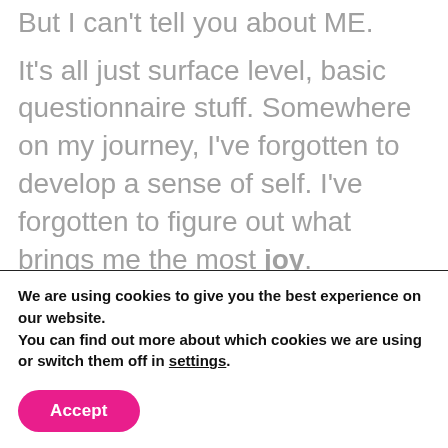But I can't tell you about ME.
It's all just surface level, basic questionnaire stuff. Somewhere on my journey, I've forgotten to develop a sense of self. I've forgotten to figure out what brings me the most joy.
Ironically enough, JOY is my word for
We are using cookies to give you the best experience on our website.
You can find out more about which cookies we are using or switch them off in settings.
Accept